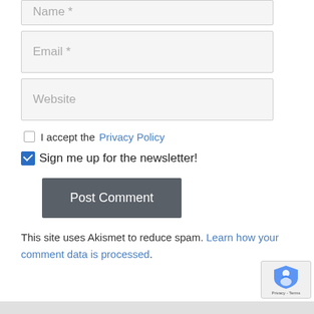Name *
Email *
Website
I accept the Privacy Policy
Sign me up for the newsletter!
Post Comment
This site uses Akismet to reduce spam. Learn how your comment data is processed.
[Figure (other): reCAPTCHA badge in bottom right corner with shield icon and Privacy - Terms text]